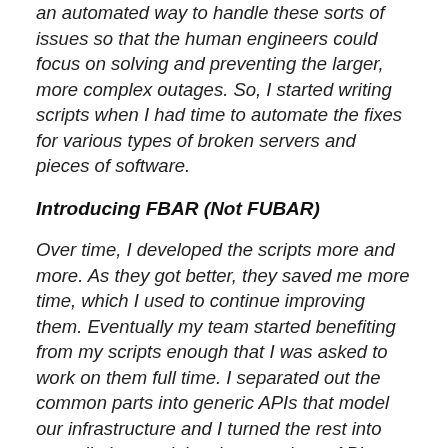an automated way to handle these sorts of issues so that the human engineers could focus on solving and preventing the larger, more complex outages. So, I started writing scripts when I had time to automate the fixes for various types of broken servers and pieces of software.
Introducing FBAR (Not FUBAR)
Over time, I developed the scripts more and more. As they got better, they saved me more time, which I used to continue improving them. Eventually my team started benefiting from my scripts enough that I was asked to work on them full time. I separated out the common parts into generic APIs that model our infrastructure and I turned the rest into remediation modules that use these APIs to implement the business logic for individual components of the Facebook back end. Then I wrote a daemonized service that executes workflows comprising those